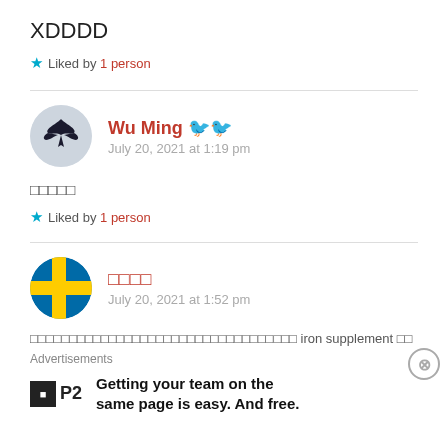XDDDD
★ Liked by 1 person
Wu Ming 🐦 — July 20, 2021 at 1:19 pm
□□□□□
★ Liked by 1 person
□□□□ — July 20, 2021 at 1:52 pm
□□□□□□□□□□□□□□□□□□□□□□□□□□□□□□□□□□ iron supplement □□
Advertisements
Getting your team on the same page is easy. And free.